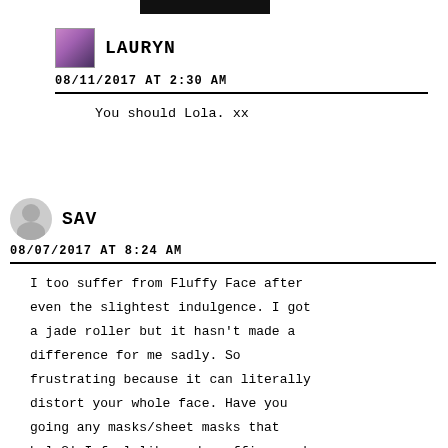[Figure (other): Black horizontal bar at top, partially cropped]
LAURYN
08/11/2017 AT 2:30 AM
You should Lola. xx
SAV
08/07/2017 AT 8:24 AM
I too suffer from Fluffy Face after even the slightest indulgence. I got a jade roller but it hasn't made a difference for me sadly. So frustrating because it can literally distort your whole face. Have you going any masks/sheet masks that help?! I feel like a de puffing mask